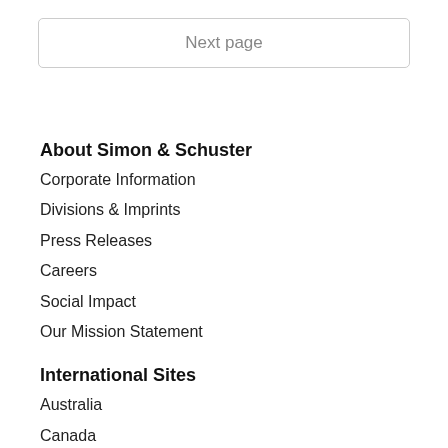Next page
About Simon & Schuster
Corporate Information
Divisions & Imprints
Press Releases
Careers
Social Impact
Our Mission Statement
International Sites
Australia
Canada
India
United Kingdom